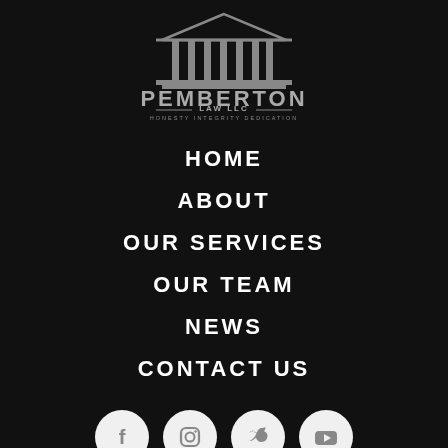[Figure (logo): Pemberton Law LLC logo — Greek temple/courthouse illustration above the text PEMBERTON LAW LLC HONESTY INTEGRITY DEDICATION in gray on black background]
HOME
ABOUT
OUR SERVICES
OUR TEAM
NEWS
CONTACT US
[Figure (illustration): Four social media icon circles (Facebook, Instagram, Twitter, YouTube) in white/light gray on dark background]